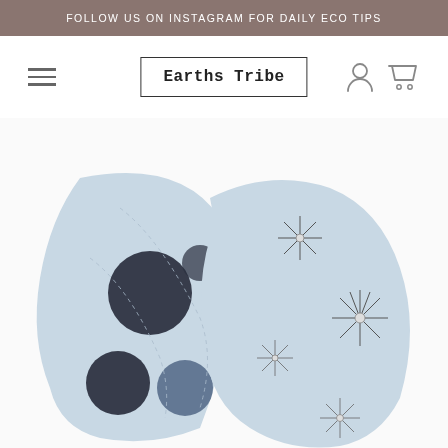FOLLOW US ON INSTAGRAM FOR DAILY ECO TIPS
Earths Tribe
[Figure (photo): Photo of folded fabric with blue/grey colour, featuring polka dot and dandelion patterns, shown rolled/draped against white background]